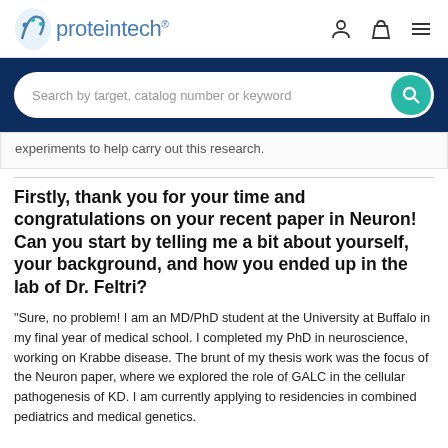proteintech
[Figure (screenshot): Search bar with placeholder text 'Search by target, catalog number or keyword' and teal search button on dark navy background]
experiments to help carry out this research.
Firstly, thank you for your time and congratulations on your recent paper in Neuron! Can you start by telling me a bit about yourself, your background, and how you ended up in the lab of Dr. Feltri?
"Sure, no problem! I am an MD/PhD student at the University at Buffalo in my final year of medical school. I completed my PhD in neuroscience, working on Krabbe disease. The brunt of my thesis work was the focus of the Neuron paper, where we explored the role of GALC in the cellular pathogenesis of KD. I am currently applying to residencies in combined pediatrics and medical genetics.